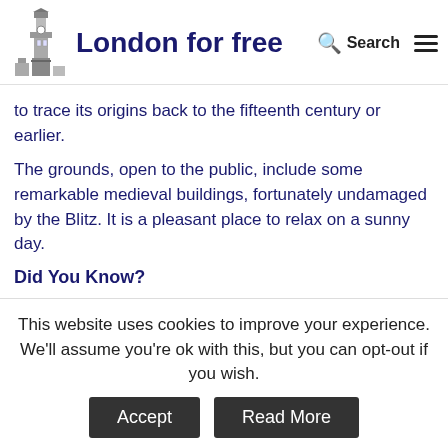London for free — Search [menu]
to trace its origins back to the fifteenth century or earlier.
The grounds, open to the public, include some remarkable medieval buildings, fortunately undamaged by the Blitz. It is a pleasant place to relax on a sunny day.
Did You Know?
Fifteen Prime Ministers, including Tony Blair and Margaret Thatcher, have been members of Lincolns Inn.
you have now completed this walk. Return to Chancery
This website uses cookies to improve your experience. We'll assume you're ok with this, but you can opt-out if you wish.
Accept
Read More